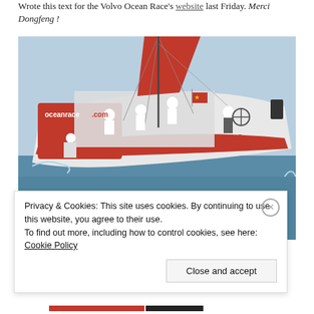Wrote this text for the Volvo Ocean Race's website last Friday. Merci Dongfeng !
[Figure (photo): Crew members on the deck of the Dongfeng Race Team sailing boat during the Volvo Ocean Race. The red and white yacht is heeling in choppy blue ocean water, with crew in white gear working the rigging and helm. A Chinese flag is visible. The boat hull reads 'oceanrace.com'.]
Privacy & Cookies: This site uses cookies. By continuing to use this website, you agree to their use.
To find out more, including how to control cookies, see here: Cookie Policy
Close and accept